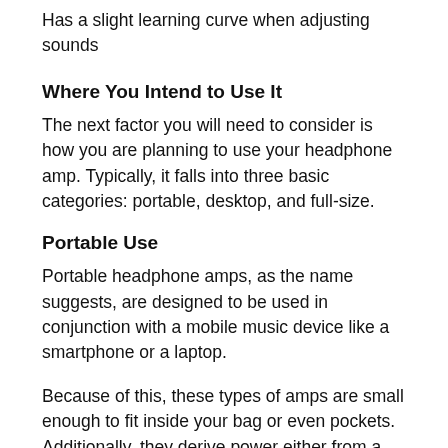Has a slight learning curve when adjusting sounds
Where You Intend to Use It
The next factor you will need to consider is how you are planning to use your headphone amp. Typically, it falls into three basic categories: portable, desktop, and full-size.
Portable Use
Portable headphone amps, as the name suggests, are designed to be used in conjunction with a mobile music device like a smartphone or a laptop.
Because of this, these types of amps are small enough to fit inside your bag or even pockets. Additionally, they derive power either from a